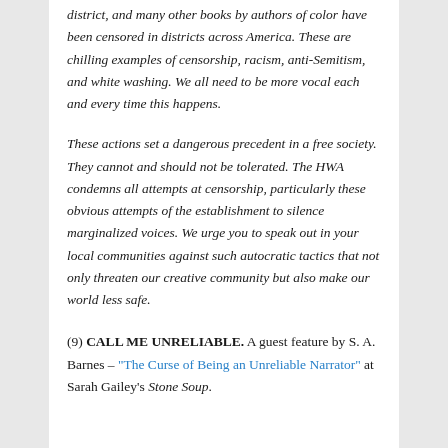district, and many other books by authors of color have been censored in districts across America. These are chilling examples of censorship, racism, anti-Semitism, and white washing. We all need to be more vocal each and every time this happens.
These actions set a dangerous precedent in a free society. They cannot and should not be tolerated. The HWA condemns all attempts at censorship, particularly these obvious attempts of the establishment to silence marginalized voices. We urge you to speak out in your local communities against such autocratic tactics that not only threaten our creative community but also make our world less safe.
(9) CALL ME UNRELIABLE. A guest feature by S. A. Barnes – "The Curse of Being an Unreliable Narrator" at Sarah Gailey's Stone Soup.